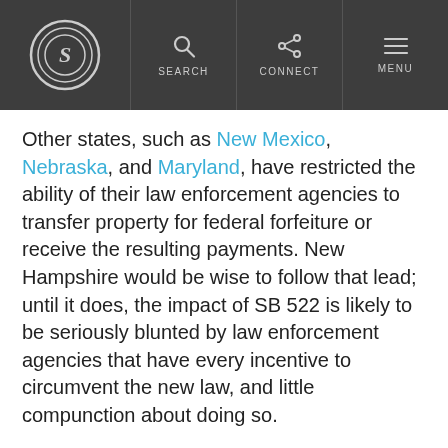S [logo] | SEARCH | CONNECT | MENU
Other states, such as New Mexico, Nebraska, and Maryland, have restricted the ability of their law enforcement agencies to transfer property for federal forfeiture or receive the resulting payments. New Hampshire would be wise to follow that lead; until it does, the impact of SB 522 is likely to be seriously blunted by law enforcement agencies that have every incentive to circumvent the new law, and little compunction about doing so.
Reforms like those in SB 522 will make it far more difficult to seize property from innocent people. New Hampshire has taken a solid first step toward restoring forfeiture to its original and laudable goal: targeting the ill-gotten gains of criminals.